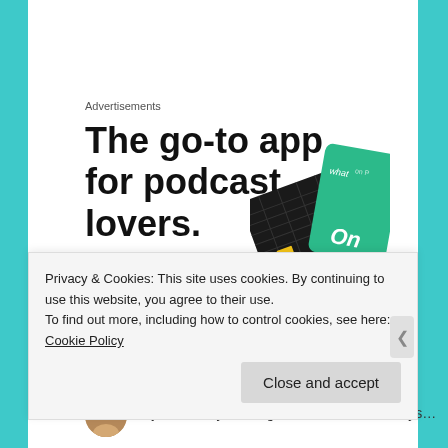Advertisements
The go-to app for podcast lovers.
[Figure (illustration): Advertisement image showing app cards/screens on dark and green backgrounds]
OLIVIA BATT   August 22, 2016 at 1:05 am   LOG IN TO REPLY
[Figure (photo): User avatar photo, partially visible]
...just found your blog and I love it! I'm always...
Privacy & Cookies: This site uses cookies. By continuing to use this website, you agree to their use.
To find out more, including how to control cookies, see here: Cookie Policy
Close and accept